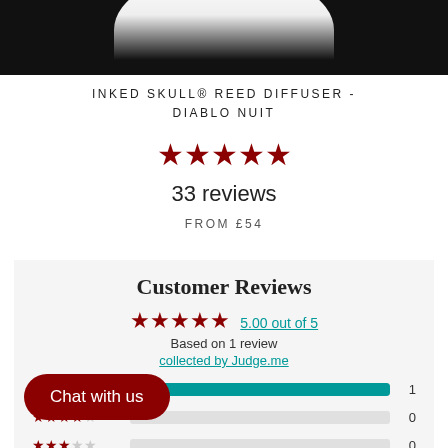[Figure (photo): Product photo of Inked Skull Reed Diffuser - Diablo Nuit, showing a dark bottle against black background]
INKED SKULL® REED DIFFUSER - DIABLO NUIT
★★★★★
33 reviews
FROM £54
Customer Reviews
★★★★★ 5.00 out of 5
Based on 1 review
collected by Judge.me
5 stars bar: 1
4 stars bar: 0
3 stars bar: 0